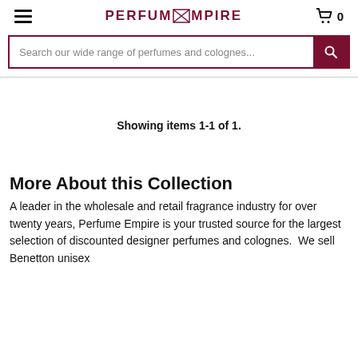PERFUM EMPIRE
Search our wide range of perfumes and colognes...
Showing items 1-1 of 1.
More About this Collection
A leader in the wholesale and retail fragrance industry for over twenty years, Perfume Empire is your trusted source for the largest selection of discounted designer perfumes and colognes.  We sell Benetton unisex